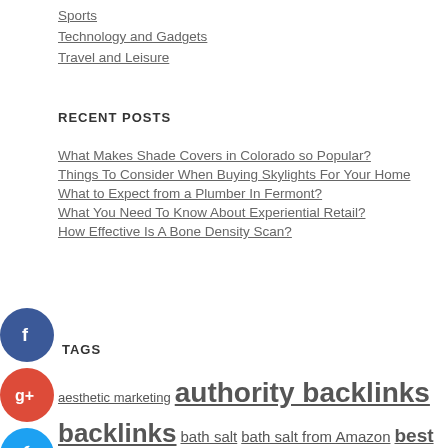Sports
Technology and Gadgets
Travel and Leisure
RECENT POSTS
What Makes Shade Covers in Colorado so Popular?
Things To Consider When Buying Skylights For Your Home
What to Expect from a Plumber In Fermont?
What You Need To Know About Experiential Retail?
How Effective Is A Bone Density Scan?
TAGS
aesthetic marketing authority backlinks backlinks bath salt bath salt from Amazon best digital marketing books best seo books buy backlinks buy backlinks cheap